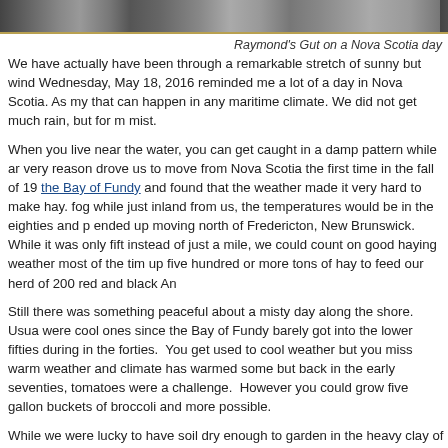[Figure (photo): Partial view of a coastal/water scene on a Nova Scotia day, shown as a dark strip at the top of the page.]
Raymond's Gut on a Nova Scotia day
We have actually have been through a remarkable stretch of sunny but wind Wednesday, May 18, 2016 reminded me a lot of a day in Nova Scotia. As my that can happen in any maritime climate. We did not get much rain, but for m mist.
When you live near the water, you can get caught in a damp pattern while ar very reason drove us to move from Nova Scotia the first time in the fall of 19 the Bay of Fundy and found that the weather made it very hard to make hay. fog while just inland from us, the temperatures would be in the eighties and p ended up moving north of Fredericton, New Brunswick.  While it was only fift instead of just a mile, we could count on good haying weather most of the tim up five hundred or more tons of hay to feed our herd of 200 red and black An
Still there was something peaceful about a misty day along the shore.  Usua were cool ones since the Bay of Fundy barely got into the lower fifties during in the forties.  You get used to cool weather but you miss warm weather and climate has warmed some but back in the early seventies, tomatoes were a challenge.  However you could grow five gallon buckets of broccoli and more possible.
While we were lucky to have soil dry enough to garden in the heavy clay of t where we live along the North Carolina coast, our spinach, lettuce and brocc May. Summer is almost on us and we are looking forward to it and the visitor temperatures are already around seventy degrees so we rarely cool below th this has been a cool spring so we have seen the forties at least once and a f
Living in any coastal area will bring you closer to mother nature.  The weathe you without much warning.  I was recently kayaking and a heavy rainstorm